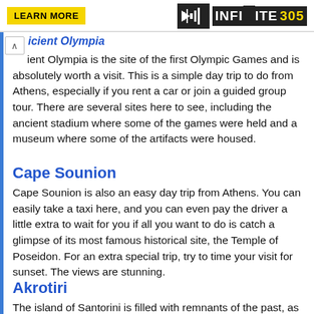[Figure (logo): LEARN MORE button and INFINITE 305 logo in page header]
ient Olympia is the site of the first Olympic Games and is absolutely worth a visit. This is a simple day trip to do from Athens, especially if you rent a car or join a guided group tour. There are several sites here to see, including the ancient stadium where some of the games were held and a museum where some of the artifacts were housed.
Cape Sounion
Cape Sounion is also an easy day trip from Athens. You can easily take a taxi here, and you can even pay the driver a little extra to wait for you if all you want to do is catch a glimpse of its most famous historical site, the Temple of Poseidon. For an extra special trip, try to time your visit for sunset. The views are stunning.
Akrotiri
The island of Santorini is filled with remnants of the past, as evidenced by the very shape of the island. A cataclysmic